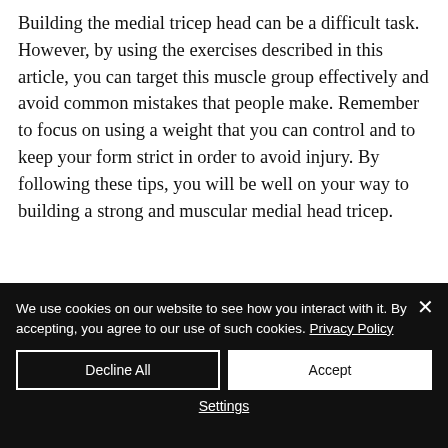Building the medial tricep head can be a difficult task. However, by using the exercises described in this article, you can target this muscle group effectively and avoid common mistakes that people make. Remember to focus on using a weight that you can control and to keep your form strict in order to avoid injury. By following these tips, you will be well on your way to building a strong and muscular medial head tricep.
We use cookies on our website to see how you interact with it. By accepting, you agree to our use of such cookies. Privacy Policy
Decline All
Accept
Settings